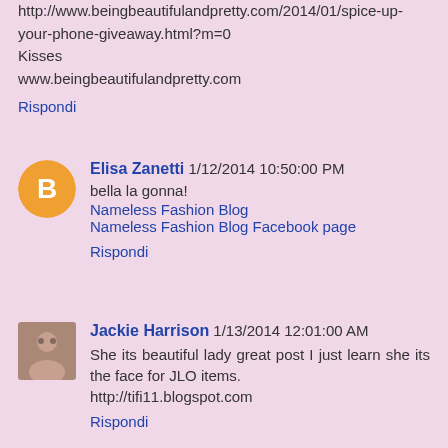http://www.beingbeautifulandpretty.com/2014/01/spice-up-your-phone-giveaway.html?m=0
Kisses
www.beingbeautifulandpretty.com
Rispondi
Elisa Zanetti  1/12/2014 10:50:00 PM
bella la gonna!
Nameless Fashion Blog
Nameless Fashion Blog Facebook page
Rispondi
Jackie Harrison  1/13/2014 12:01:00 AM
She its beautiful lady great post I just learn she its the face for JLO items.
http://tifi11.blogspot.com
Rispondi